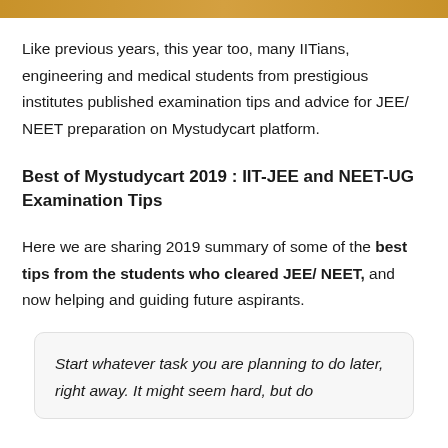[Figure (photo): Decorative top banner image with warm brown/golden color]
Like previous years, this year too, many IITians, engineering and medical students from prestigious institutes published examination tips and advice for JEE/ NEET preparation on Mystudycart platform.
Best of Mystudycart 2019 : IIT-JEE and NEET-UG Examination Tips
Here we are sharing 2019 summary of some of the best tips from the students who cleared JEE/ NEET, and now helping and guiding future aspirants.
Start whatever task you are planning to do later, right away. It might seem hard, but do